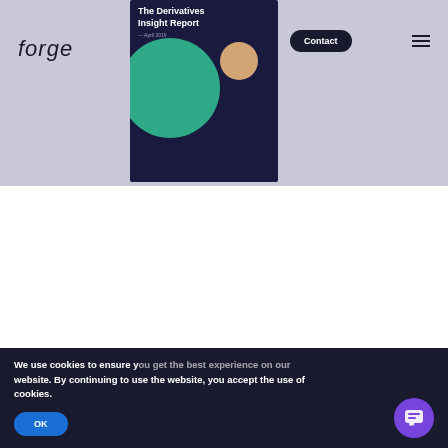[Figure (screenshot): Top banner showing a website header with 'forge' logo on the left, a book/report cover titled 'The Derivatives Insight Report - April 2019' in the center featuring dark navy background with green and peach circles, a 'Contact' button and hamburger menu on the right, on a gray-lavender background.]
[Figure (screenshot): Bottom section showing multiple website screenshots from acuiti business intelligence website. Left screenshot shows acuiti logo with colorful geometric shapes and 'Operational' text. Middle screenshot shows a report card with icon and text about senior executives in derivatives market. Right screenshot also shows acuiti logo with geometric shapes. A chat popup overlay shows an avatar with text 'Got any questions? I'm happy to help.' with an X close button.]
We use cookies to ensure y website. By continuing to use the website, you accept the use of cookies.
OK